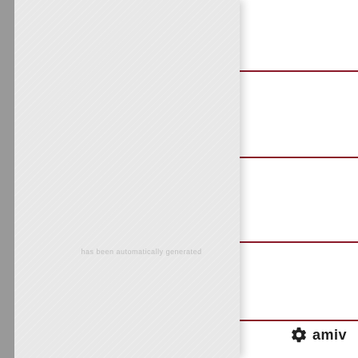[Figure (other): Left side textured gray notebook/document cover page with diagonal hatching pattern and faint watermark text. A gray spine is visible on the far left edge.]
[Figure (other): Right side white page with four horizontal dark red/maroon lines evenly spaced, resembling a form with blank fields. AMIV logo (gear icon + 'amiv' text) appears at the bottom right corner.]